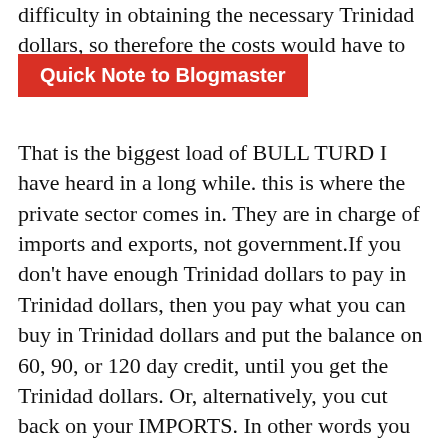difficulty in obtaining the necessary Trinidad dollars, so therefore the costs would have to be paid in U.S.
Quick Note to Blogmaster
That is the biggest load of BULL TURD I have heard in a long while. this is where the private sector comes in. They are in charge of imports and exports, not government.If you don't have enough Trinidad dollars to pay in Trinidad dollars, then you pay what you can buy in Trinidad dollars and put the balance on 60, 90, or 120 day credit, until you get the Trinidad dollars. Or, alternatively, you cut back on your IMPORTS. In other words you match import costs with exports receipts so that they balance. If your exports bring in one million dollars, then your imports match that one million dollars, In Trinidad dollars, not U.S. dollar equivalents. If they pay in U.S. dollars for their imports from us, we will pay the same amount in U.S. dollars, other than that they get paid in Trinidad dollars. There are